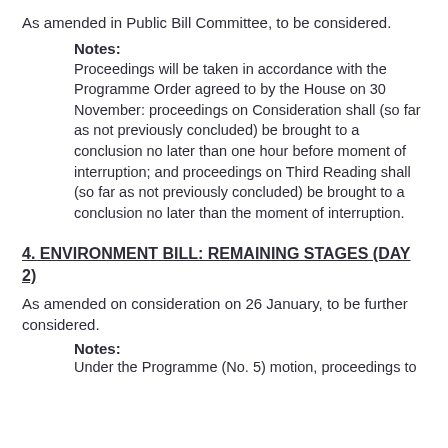As amended in Public Bill Committee, to be considered.
Notes:
Proceedings will be taken in accordance with the Programme Order agreed to by the House on 30 November: proceedings on Consideration shall (so far as not previously concluded) be brought to a conclusion no later than one hour before moment of interruption; and proceedings on Third Reading shall (so far as not previously concluded) be brought to a conclusion no later than the moment of interruption.
4. ENVIRONMENT BILL: REMAINING STAGES (DAY 2)
As amended on consideration on 26 January, to be further considered.
Notes:
Under the Programme (No. 5) motion, proceedings to...